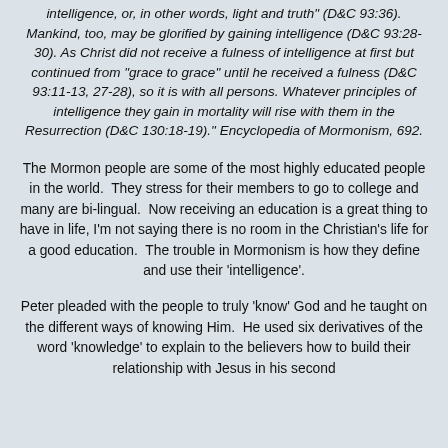intelligence, or, in other words, light and truth" (D&C 93:36). Mankind, too, may be glorified by gaining intelligence (D&C 93:28-30). As Christ did not receive a fulness of intelligence at first but continued from "grace to grace" until he received a fulness (D&C 93:11-13, 27-28), so it is with all persons. Whatever principles of intelligence they gain in mortality will rise with them in the Resurrection (D&C 130:18-19)." Encyclopedia of Mormonism, 692.
The Mormon people are some of the most highly educated people in the world. They stress for their members to go to college and many are bi-lingual. Now receiving an education is a great thing to have in life, I'm not saying there is no room in the Christian's life for a good education. The trouble in Mormonism is how they define and use their 'intelligence'.
Peter pleaded with the people to truly 'know' God and he taught on the different ways of knowing Him. He used six derivatives of the word 'knowledge' to explain to the believers how to build their relationship with Jesus in his second